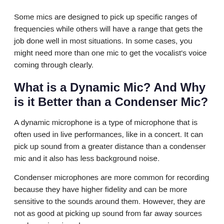Some mics are designed to pick up specific ranges of frequencies while others will have a range that gets the job done well in most situations. In some cases, you might need more than one mic to get the vocalist's voice coming through clearly.
What is a Dynamic Mic? And Why is it Better than a Condenser Mic?
A dynamic microphone is a type of microphone that is often used in live performances, like in a concert. It can pick up sound from a greater distance than a condenser mic and it also has less background noise.
Condenser microphones are more common for recording because they have higher fidelity and can be more sensitive to the sounds around them. However, they are not as good at picking up sound from far away sources as dynamic microphones are.